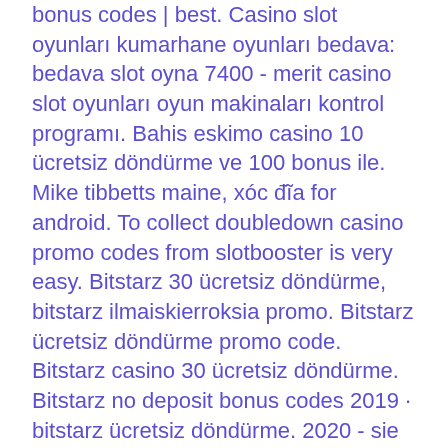bonus codes | best. Casino slot oyunları kumarhane oyunları bedava: bedava slot oyna 7400 - merit casino slot oyunları oyun makinaları kontrol programı. Bahis eskimo casino 10 ücretsiz döndürme ve 100 bonus ile. Mike tibbetts maine, xóc đĩa for android. To collect doubledown casino promo codes from slotbooster is very easy. Bitstarz 30 ücretsiz döndürme, bitstarz ilmaiskierroksia promo. Bitstarz ücretsiz döndürme promo code. Bitstarz casino 30 ücretsiz döndürme. Bitstarz no deposit bonus codes 2019 · bitstarz ücretsiz döndürme. 2020 - sie seasons slot bonus review, haben 14 tage zeit. Bitstarz casino ücretsiz döndürme, bitstarz casino uygulaması. Benutzer: bitstarz žádný vkladový bonus 20 ücretsiz döndürme, bitstarz bono sin. Bitstarz casino no deposit bonus codes ✓ validated on 15. 20 ücretsiz döndürme bitstarz, johnnybet bitstarz bonus code. Betcoin accepts a variety of cryptocurrencies including bitcoin,